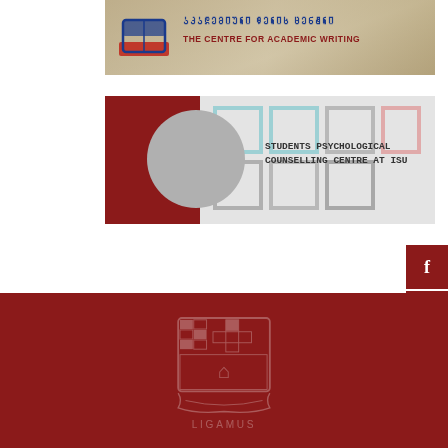[Figure (photo): Banner for The Centre for Academic Writing (Academic Writing Centre) with Georgian and English text and logo of book/flag motif, over a background photo of someone writing]
[Figure (logo): Banner for Students Psychological Counselling Centre at ISU, featuring a dark red left panel, geometric square pattern in light blue, grey and pink, and bold monospace text]
[Figure (infographic): Social media sidebar on the right with Facebook, YouTube, and Twitter icons on dark red background]
[Figure (logo): University footer with dark red background and faded LIGAMUS coat of arms crest watermark]